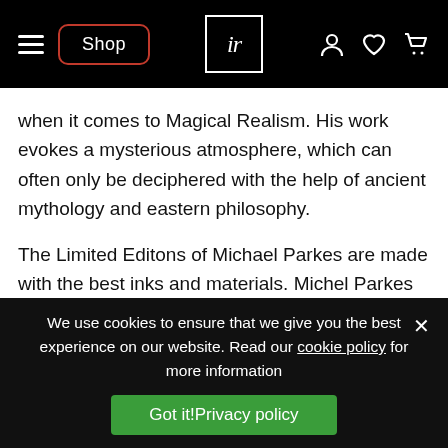Shop | ir | (icons: user, heart, cart)
when it comes to Magical Realism. His work evokes a mysterious atmosphere, which can often only be deciphered with the help of ancient mythology and eastern philosophy.
The Limited Editons of Michael Parkes are made with the best inks and materials. Michel Parkes is involved in the whole proces together with his master printer. All canvas editions of Michael Parkes are Certified Art Giclees on 450
We use cookies to ensure that we give you the best experience on our website. Read our cookie policy for more information
Got it!Privacy policy